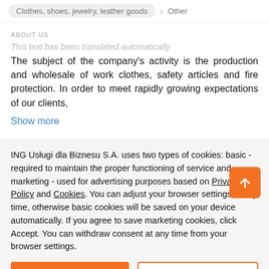Clothes, shoes, jewelry, leather goods > Other
ABOUT US
This text has been translated automatically
The subject of the company's activity is the production and wholesale of work clothes, safety articles and fire protection. In order to meet rapidly growing expectations of our clients,
Show more
ACTIVITY TYPE
manufacturer, wholesaler, distributor
ING Usługi dla Biznesu S.A. uses two types of cookies: basic - required to maintain the proper functioning of service and marketing - used for advertising purposes based on Privacy Policy and Cookies. You can adjust your browser settings at any time, otherwise basic cookies will be saved on your device automatically. If you agree to save marketing cookies, click Accept. You can withdraw consent at any time from your browser settings.
Accept
Close